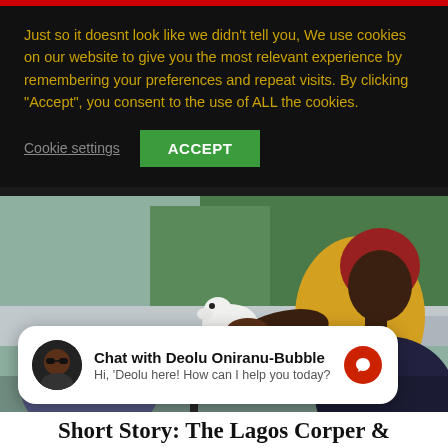Just so it doesnt look like we didn't tell you, We use cookies on our website to give you the most relevant experience by remembering your preferences and repeat visits. By clicking "Accept", you consent to the use of ALL the cookies.
Cookie settings  ACCEPT
[Figure (photo): A person wearing a yellow top and dark pants leans over a table where a small white fluffy dog sits. The scene appears to be outdoors at a cafe or terrace with greenery in the background.]
Chat with Deolu Oniranu-Bubble
Hi, 'Deolu here! How can I help you today?
Short Story: The Lagos Corper &